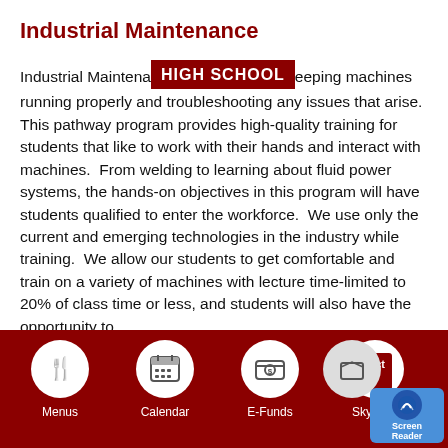Industrial Maintenance
Industrial Maintenance [HIGH SCHOOL] keeping machines running properly and troubleshooting any issues that arise. This pathway program provides high-quality training for students that like to work with their hands and interact with machines. From welding to learning about fluid power systems, the hands-on objectives in this program will have students qualified to enter the workforce. We use only the current and emerging technologies in the industry while training. We allow our students to get comfortable and train on a variety of machines with lecture time-limited to 20% of class time or less, and students will also have the opportunity to
[Figure (infographic): Dark red footer navigation bar with four circular icon buttons labeled Menus, Calendar, E-Funds, Skyward, plus a Contact Us button and a Screen Reader accessibility button in the bottom right.]